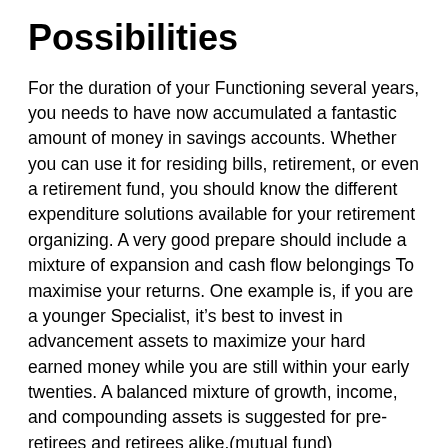Possibilities
For the duration of your Functioning several years, you needs to have now accumulated a fantastic amount of money in savings accounts. Whether you can use it for residing bills, retirement, or even a retirement fund, you should know the different expenditure solutions available for your retirement organizing. A very good prepare should include a mixture of expansion and cash flow belongings To maximise your returns. One example is, if you are a younger Specialist, it's best to invest in advancement assets to maximize your hard earned money while you are still within your early twenties. A balanced mixture of growth, income, and compounding assets is suggested for pre-retirees and retirees alike.(mutual fund)
With regards to personal expense techniques, mutual resources are among the best investments for retirement organizing. These expenditure strategies give up to 15%